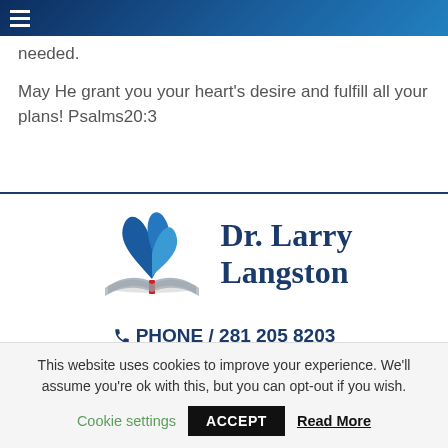needed.
May He grant you your heart's desire and fulfill all your plans! Psalms20:3
[Figure (logo): Dr. Larry Langston logo with blue leaf/feather design above an open book with red spine, and the name 'Dr. Larry Langston' in dark blue serif font]
PHONE / 281 205 8203
This website uses cookies to improve your experience. We'll assume you're ok with this, but you can opt-out if you wish.
Cookie settings   ACCEPT   Read More